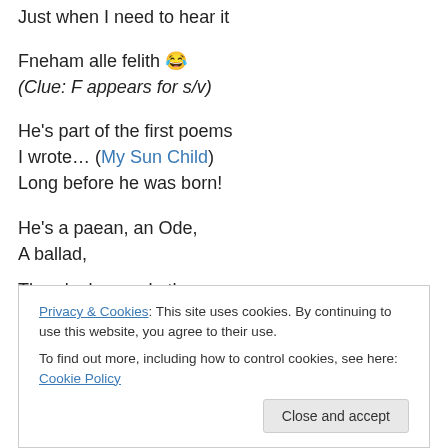Just when I need to hear it
Fneham alle felith 😂
(Clue: F appears for s/v)
He's part of the first poems
I wrote… (My Sun Child)
Long before he was born!
He's a paean, an Ode,
A ballad,
There's rhyme, rhythm
Privacy & Cookies: This site uses cookies. By continuing to use this website, you agree to their use. To find out more, including how to control cookies, see here: Cookie Policy